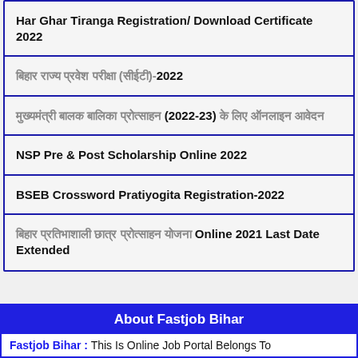Har Ghar Tiranga Registration/ Download Certificate 2022
बिहार राज्य प्रवेश परीक्षा (सीईटी)-2022
मुख्यमंत्री बालक बालिका प्रोत्साहन (2022-23) के लिए ऑनलाइन आवेदन
NSP Pre & Post Scholarship Online 2022
BSEB Crossword Pratiyogita Registration-2022
बिहार प्रतिभाशाली छात्र प्रोत्साहन योजना Online 2021 Last Date Extended
About Fastjob Bihar
Fastjob Bihar : This Is Online Job Portal Belongs To